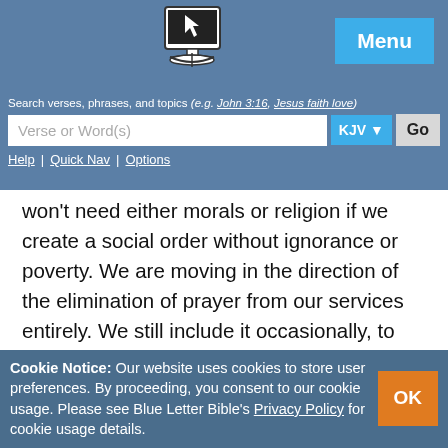Menu
Search verses, phrases, and topics (e.g. John 3:16, Jesus faith love)
Verse or Word(s) | KJV | Go
Help | Quick Nav | Options
won't need either morals or religion if we create a social order without ignorance or poverty. We are moving in the direction of the elimination of prayer from our services entirely. We still include it occasionally, to please those who are accustomed to it, for prayer is a sort of habit with folks. It takes time to educate them to a realization that it is a hang-over from the superstitious past. We do not teach Bible to our young people. We do not teach them to pray. Our
Cookie Notice: Our website uses cookies to store user preferences. By proceeding, you consent to our cookie usage. Please see Blue Letter Bible's Privacy Policy for cookie usage details.